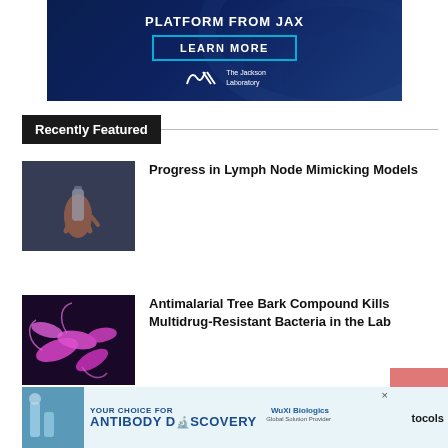[Figure (photo): JAX advertisement banner with dark navy blue background, swirl pattern, 'PLATFORM FROM JAX' text, 'LEARN MORE' button in teal border, and The Jackson Laboratory logo]
Recently Featured
[Figure (photo): Hand holding a small transparent glass vial or container]
Progress in Lymph Node Mimicking Models
[Figure (photo): Close-up microscope image of pink and magenta rod-shaped bacteria]
Antimalarial Tree Bark Compound Kills Multidrug-Resistant Bacteria in the Lab
[Figure (photo): WuXi Biologics advertisement: YOUR CHOICE FOR ANTIBODY DISCOVERY with lab imagery and logo]